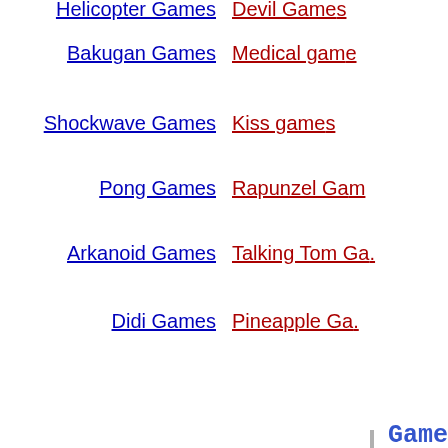Helicopter Games
Devil Games
Bakugan Games
Medical games
Shockwave Games
Kiss games
Pong Games
Rapunzel Games
Arkanoid Games
Talking Tom Games
Didi Games
Pineapple Games
Games for You
[Figure (screenshot): Sue's Bakery game screenshot showing bakery items grid]
Sue's Bakery
[Figure (screenshot): Stickman Death Classroom game screenshot with stickman figure at desk]
Stickman Death Classroom
[Figure (screenshot): Green jungle/farm game screenshot]
[Figure (screenshot): Fractured 2 game screenshot]